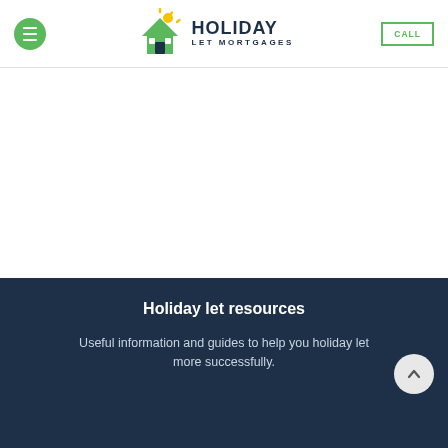Holiday Let Mortgages — navigation header with menu button and CALL button
[Figure (logo): Holiday Let Mortgages logo: green house icon with sun rays and navy blue text reading HOLIDAY LET MORTGAGES]
Holiday let resources
Useful information and guides to help you holiday let more successfully.